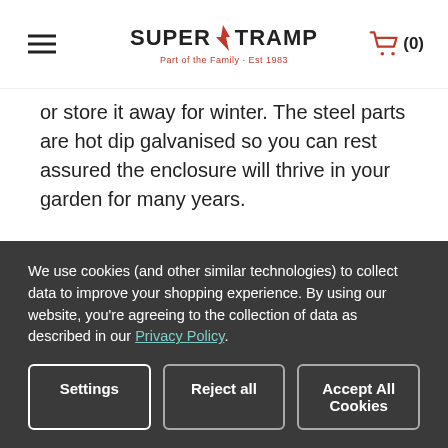SuperTramp - Part of the Family · Est 1983
or store it away for winter. The steel parts are hot dip galvanised so you can rest assured the enclosure will thrive in your garden for many years.
In-Ground Trampoline
The Fun Bouncer has been designed on a full height frame making it versatile in that it can be positioned above ground or in-ground, depending
We use cookies (and other similar technologies) to collect data to improve your shopping experience. By using our website, you're agreeing to the collection of data as described in our Privacy Policy.
Settings | Reject all | Accept All Cookies